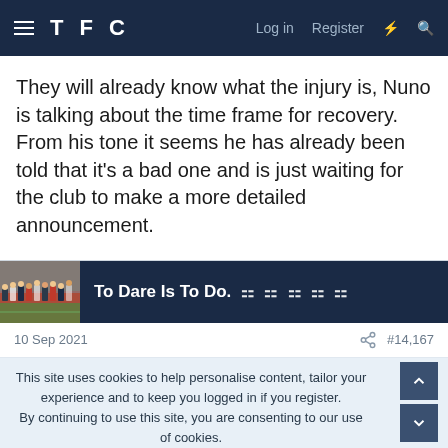TFC  Log in  Register
They will already know what the injury is, Nuno is talking about the time frame for recovery. From his tone it seems he has already been told that it’s a bad one and is just waiting for the club to make a more detailed announcement.
To Dare Is To Do.  ⛆ ⛆ ⛆ ⛆ ⛆
10 Sep 2021  #14,167
This site uses cookies to help personalise content, tailor your experience and to keep you logged in if you register.
By continuing to use this site, you are consenting to our use of cookies.
✓ ACCEPT   LEARN MORE…